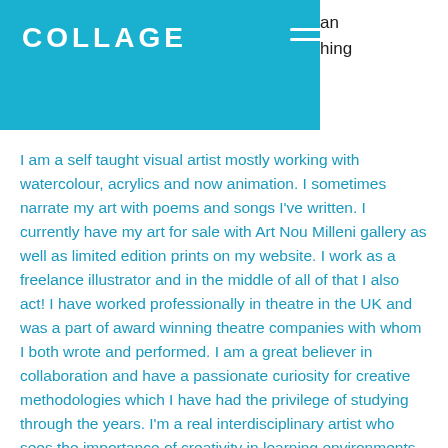COLLAGE
an
thing
I am a self taught visual artist mostly working with watercolour, acrylics and now animation. I sometimes narrate my art with poems and songs I've written. I currently have my art for sale with Art Nou Milleni gallery as well as limited edition prints on my website. I work as a freelance illustrator and in the middle of all of that I also act! I have worked professionally in theatre in the UK and was a part of award winning theatre companies with whom I both wrote and performed. I am a great believer in collaboration and have a passionate curiosity for creative methodologies which I have had the privilege of studying through the years. I'm a real interdisciplinary artist who sees the importance of creativity in learning environments as well as throughout life.
Having taught art in Morroco, led theatre workshops in London, and taught at creative english schools I am so happy to have found a home with the Collage team. When I'm not